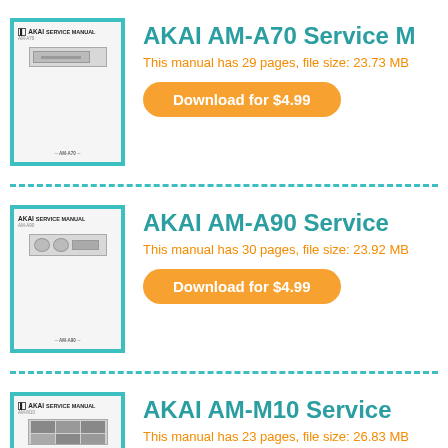[Figure (illustration): AKAI AM-A70 Service Manual cover thumbnail with teal border]
AKAI AM-A70 Service M…
This manual has 29 pages, file size: 23.73 MB
Download for $4.99
[Figure (illustration): AKAI AM-A90 Service Manual cover thumbnail with teal border]
AKAI AM-A90 Service M…
This manual has 30 pages, file size: 23.92 MB
Download for $4.99
[Figure (illustration): AKAI AM-M10 Service Manual cover thumbnail with teal border]
AKAI AM-M10 Service M…
This manual has 23 pages, file size: 26.83 MB
Download for $4.99